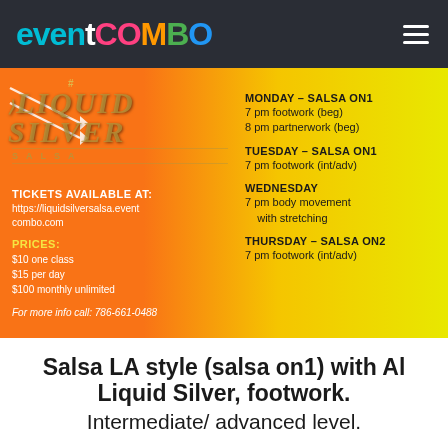eventCOMBO
[Figure (infographic): Liquid Silver Salsa event flyer with orange-to-yellow gradient background. Left side shows Liquid Silver Salsa logo with decorative arrows. Right side shows class schedule by day.]
TICKETS AVAILABLE AT: https://liquidsilversalsa.eventcombo.com
PRICES: $10 one class $15 per day $100 monthly unlimited
For more info call: 786-661-0488
MONDAY - SALSA ON1
7 pm footwork (beg)
8 pm partnerwork (beg)
TUESDAY - SALSA ON1
7 pm footwork (int/adv)
WEDNESDAY
7 pm body movement with stretching
THURSDAY - SALSA ON2
7 pm footwork (int/adv)
Salsa LA style (salsa on1) with Al Liquid Silver, footwork.
Intermediate/ advanced level.